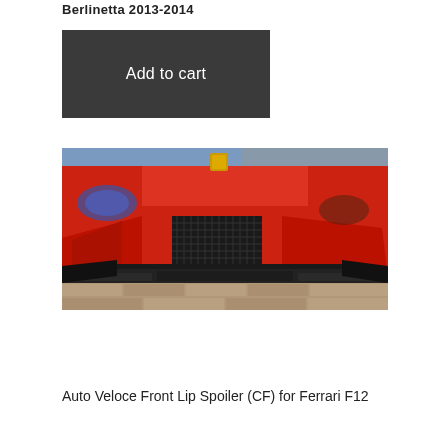Berlinetta 2013-2014
Add to cart
[Figure (photo): Close-up front view of a red Ferrari F12 Berlinetta with a carbon fiber front lip spoiler installed, photographed on a brick/paving stone surface. The car's front bumper, carbon fiber splitter, and lower intake are visible.]
Auto Veloce Front Lip Spoiler (CF) for Ferrari F12